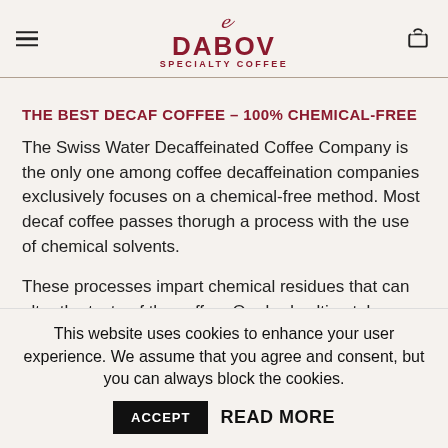DABOV SPECIALTY COFFEE
THE BEST DECAF COFFEE – 100% CHEMICAL-FREE
The Swiss Water Decaffeinated Coffee Company is the only one among coffee decaffeination companies exclusively focuses on a chemical-free method. Most decaf coffee passes thorugh a process with the use of chemical solvents.
These processes impart chemical residues that can alter the taste of the coffee. Our body ultimately consumes them, even if we speak only of small amounts. Swiss
This website uses cookies to enhance your user experience. We assume that you agree and consent, but you can always block the cookies. ACCEPT READ MORE